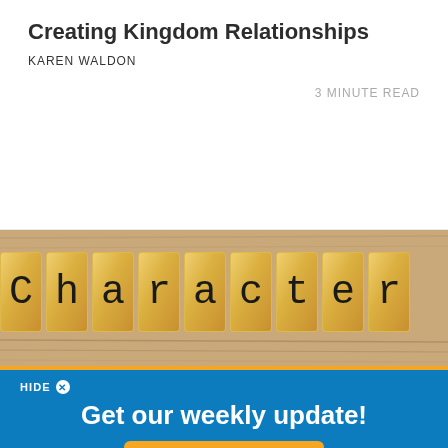Creating Kingdom Relationships
KAREN WALDON
3 MINUTE READ
[Figure (photo): Wooden letter tiles spelling 'Character' on a wood grain background]
HIDE
Get our weekly update!
SUBSCRIBE